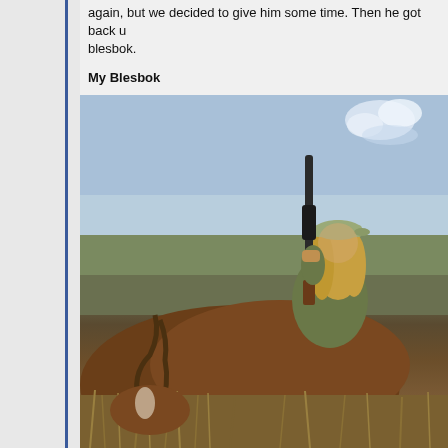again, but we decided to give him some time. Then he got back up again, but we decided to give him some time. Then he got back u... blesbok.
My Blesbok
[Figure (photo): A woman in camouflage clothing and a cap poses with a rifle next to a harvested blesbok antelope. She is kneeling behind the animal in an open grassland under a partly cloudy sky.]